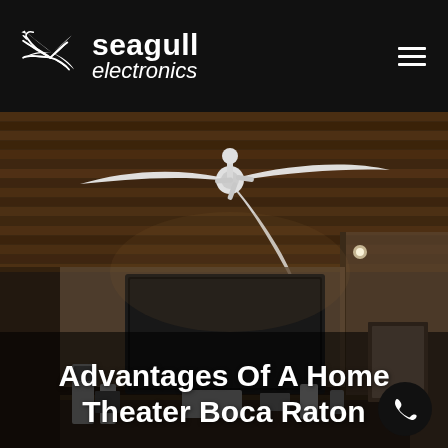seagull electronics
[Figure (photo): Interior of a home theater room with a wooden slat ceiling, a ceiling fan with three white blades, recessed lighting, a large TV screen on the wall, and home theater speaker system on a media console. The scene is dimly lit with warm ambient lighting.]
Advantages Of A Home Theater Boca Raton